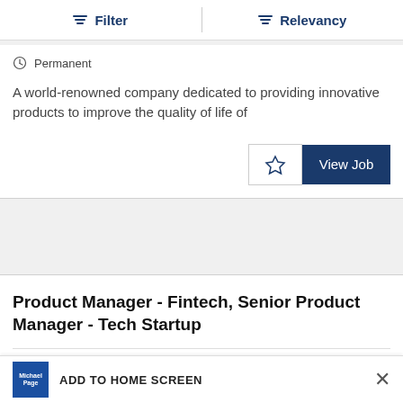Filter | Relevancy
Permanent
A world-renowned company dedicated to providing innovative products to improve the quality of life of
View Job
Product Manager - Fintech, Senior Product Manager - Tech Startup
International
ADD TO HOME SCREEN